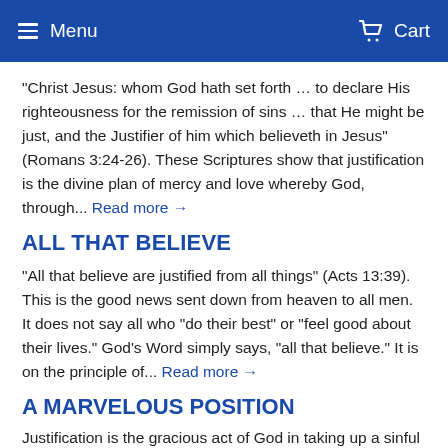Menu  Cart
“Christ Jesus: whom God hath set forth … to declare His righteousness for the remission of sins … that He might be just, and the Justifier of him which believeth in Jesus” (Romans 3:24-26). These Scriptures show that justification is the divine plan of mercy and love whereby God, through... Read more →
ALL THAT BELIEVE
“All that believe are justified from all things” (Acts 13:39). This is the good news sent down from heaven to all men. It does not say all who “do their best” or “feel good about their lives.” God’s Word simply says, “all that believe.” It is on the principle of... Read more →
A MARVELOUS POSITION
Justification is the gracious act of God in taking up a sinful